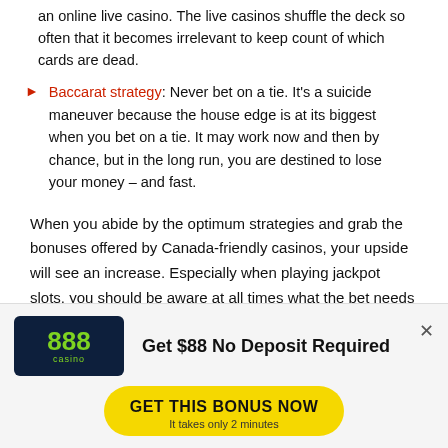an online live casino. The live casinos shuffle the deck so often that it becomes irrelevant to keep count of which cards are dead.
Baccarat strategy: Never bet on a tie. It's a suicide maneuver because the house edge is at its biggest when you bet on a tie. It may work now and then by chance, but in the long run, you are destined to lose your money – and fast.
When you abide by the optimum strategies and grab the bonuses offered by Canada-friendly casinos, your upside will see an increase. Especially when playing jackpot slots, you should be aware at all times what the bet needs to be to qualify for the progressive jackpot.
[Figure (infographic): 888 Casino advertisement banner. Logo on dark blue background with green 888 text and 'casino' label. Text reads 'Get $88 No Deposit Required'. Yellow button says 'GET THIS BONUS NOW' with subtext 'It takes only 2 minutes'.]